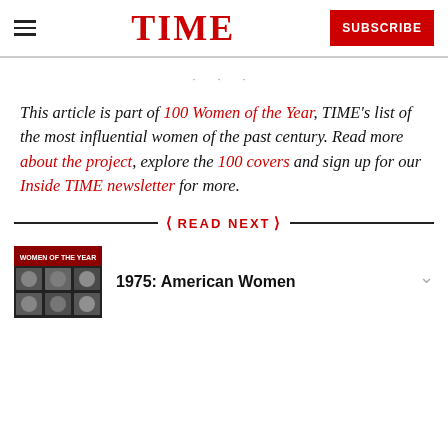TIME | SUBSCRIBE
· · ·
This article is part of 100 Women of the Year, TIME's list of the most influential women of the past century. Read more about the project, explore the 100 covers and sign up for our Inside TIME newsletter for more.
READ NEXT
1975: American Women